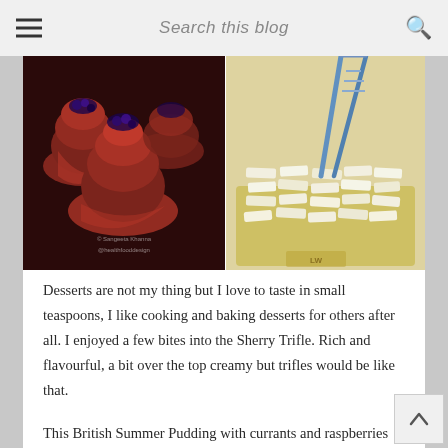Search this blog
[Figure (photo): Left: Red berry summer puddings in white bowls with berry compote. Right: Stacked white chocolate or candy pieces in a container with blue/silver tongs. Watermark: © Sangeeta Khanna @healthfooddesign]
Desserts are not my thing but I love to taste in small teaspoons, I like cooking and baking desserts for others after all. I enjoyed a few bites into the Sherry Trifle. Rich and flavourful, a bit over the top creamy but trifles would be like that.
This British Summer Pudding with currants and raspberries was really good. A bit tart from the berries, the pudding wont feel too sweet on